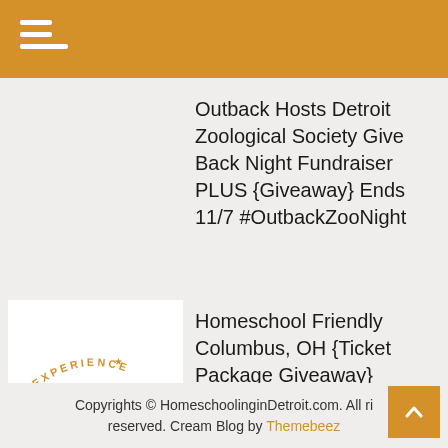Outback Hosts Detroit Zoological Society Give Back Night Fundraiser PLUS {Giveaway} Ends 11/7 #OutbackZooNight
[Figure (logo): Experience Columbus logo — arc text 'EXPERIENCE' above large bold text 'COLUMBUS' with a star, in gold/blue colors]
Homeschool Friendly Columbus, OH {Ticket Package Giveaway}
Copyrights © HomeschoolinginDetroit.com. All rights reserved. Cream Blog by Themebeez